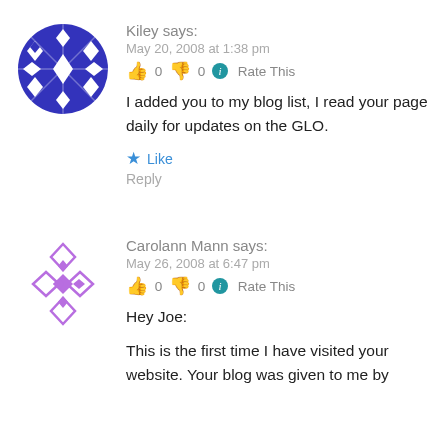[Figure (illustration): Blue circular avatar with white diamond/snowflake geometric pattern, solid blue fill background]
Kiley says:
May 20, 2008 at 1:38 pm
👍 0 👎 0 ℹ Rate This
I added you to my blog list, I read your page daily for updates on the GLO.
★ Like
Reply
[Figure (illustration): Purple/violet outlined diamond geometric pattern avatar on white background, hollow/outline style]
Carolann Mann says:
May 26, 2008 at 6:47 pm
👍 0 👎 0 ℹ Rate This
Hey Joe:

This is the first time I have visited your website. Your blog was given to me by...